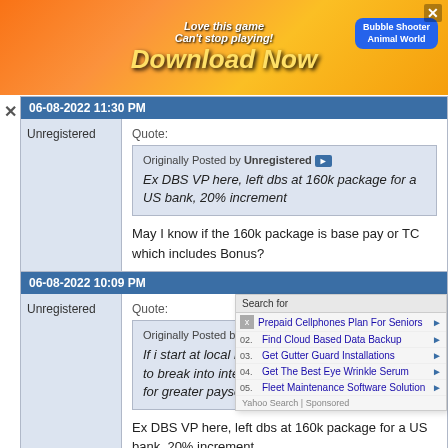[Figure (screenshot): Advertisement banner: 'Love this game Can't stop playing! Download Now' with Bubble Shooter Animal World game ad]
06-08-2022 11:30 PM
Unregistered
Quote:
Originally Posted by Unregistered
Ex DBS VP here, left dbs at 160k package for a US bank, 20% increment
May I know if the 160k package is base pay or TC which includes Bonus?
06-08-2022 10:09 PM
Unregistered
Quote:
Originally Posted by Unregistered
If i start at local bank to break into international for greater payscale?
[Figure (screenshot): Yahoo Search overlay with sponsored links: Prepaid Cellphones Plan For Seniors, Find Cloud Based Data Backup, Get Gutter Guard Installations, Get The Best Eye Wrinkle Serum, Fleet Maintenance Software Solution]
Ex DBS VP here, left dbs at 160k package for a US bank, 20% increment